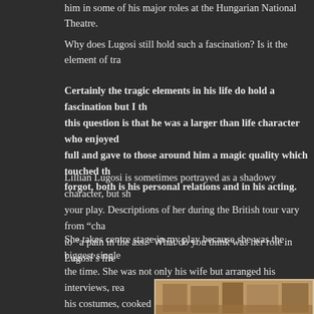him in some of his major roles at the Hungarian National Theatre.
Why does Lugosi still hold such a fascination? Is it the element of tra
Certainly the tragic elements in his life do hold a fascination but I th this question is that he was a larger than life character who enjoyed full and gave to those around him a magic quality which touched th forgot, both is his personal relations and in his acting.
Lillian Lugosi is sometimes portrayed as a shadowy character, but sh your play. Descriptions of her during the British tour vary from "cha to "a pain in the ass." What do you think was her role in Lugosi's life
She takes centre stage in my play because she was the biggest single the time. She was not only his wife but arranged his interviews, rea his costumes, cooked for him, drove the car, nursed him and kept h stage! She was very protective of him and got a reputation for being demanding. In the play she comes across as sharp and rather vitrio she loved Bela and, being thirty years younger, she felt it was her du a great part!
[Figure (photo): Sepia-toned vintage photograph showing group of people, partially visible at bottom of page]